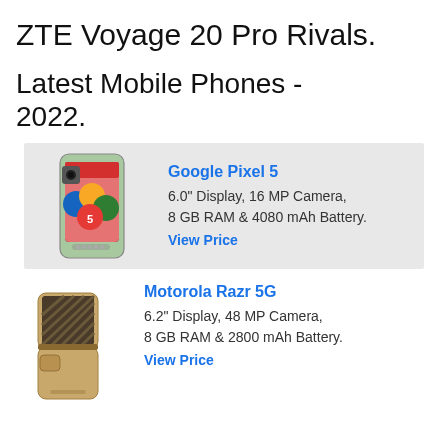ZTE Voyage 20 Pro Rivals.
Latest Mobile Phones - 2022.
[Figure (photo): Google Pixel 5 smartphone image showing mint green phone with colorful screen]
Google Pixel 5
6.0" Display, 16 MP Camera,
8 GB RAM & 4080 mAh Battery.
View Price
[Figure (photo): Motorola Razr 5G foldable smartphone image showing gold/brown phone]
Motorola Razr 5G
6.2" Display, 48 MP Camera,
8 GB RAM & 2800 mAh Battery.
View Price